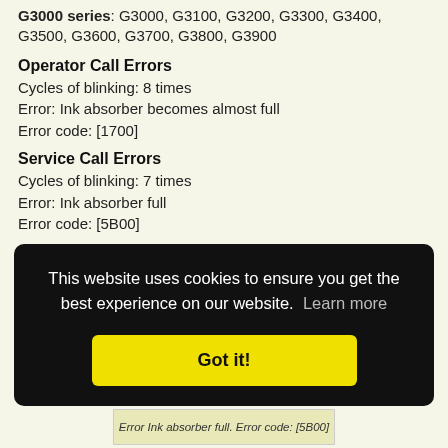G3000 series: G3000, G3100, G3200, G3300, G3400, G3500, G3600, G3700, G3800, G3900
Operator Call Errors
Cycles of blinking: 8 times
Error: Ink absorber becomes almost full
Error code: [1700]
Service Call Errors
Cycles of blinking: 7 times
Error: Ink absorber full
Error code: [5B00]
Solution:
1)   Replace the waste ink pad kit
2)   Reset the waste ink pad counter value
This website uses cookies to ensure you get the best experience on our website.  Learn more
Got it!
Error Ink absorber full. Error code: [5B00]